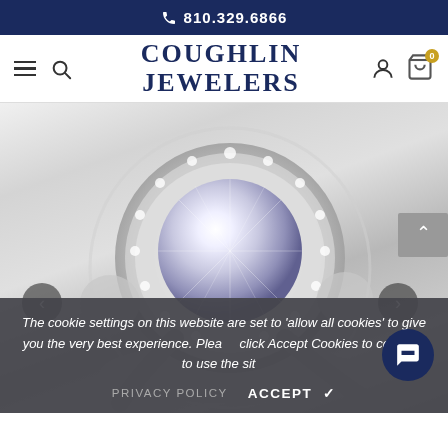810.329.6866
[Figure (logo): Coughlin Jewelers logo with hamburger menu, search icon, user icon, and cart icon with badge 0]
[Figure (photo): Close-up photograph of a diamond halo engagement ring in white gold with pavé setting, surrounded by a cookie consent overlay]
The cookie settings on this website are set to 'allow all cookies' to give you the very best experience. Please click Accept Cookies to continue to use the site.
PRIVACY POLICY   ACCEPT ✓